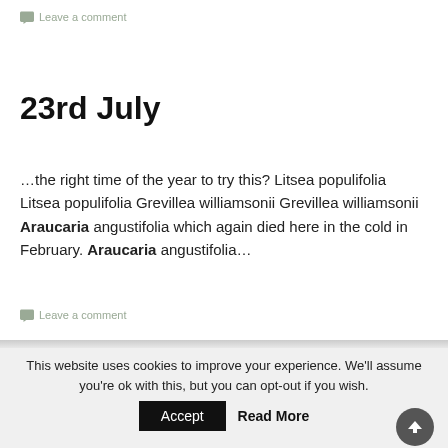Leave a comment
23rd July
…the right time of the year to try this? Litsea populifolia Litsea populifolia Grevillea williamsonii Grevillea williamsonii Araucaria angustifolia which again died here in the cold in February. Araucaria angustifolia…
Leave a comment
This website uses cookies to improve your experience. We'll assume you're ok with this, but you can opt-out if you wish.
Accept  Read More